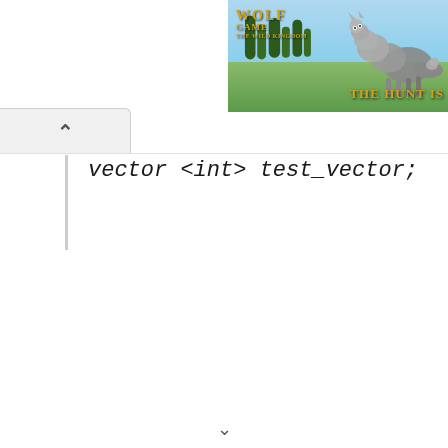[Figure (screenshot): Wolf Game: The Wild Kingdom advertisement banner showing wolves in a meadow with text 'THE HUNT IS' visible]
[Figure (screenshot): Browser UI tab/collapse chevron element]
vector <int> test_vector;